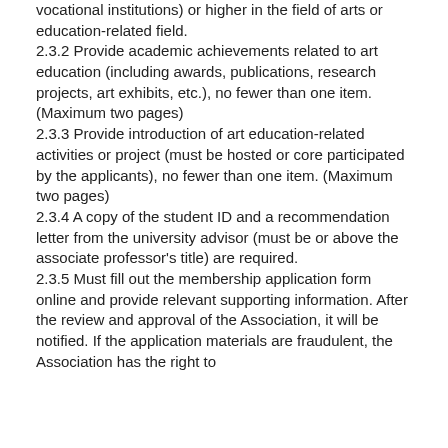vocational institutions) or higher in the field of arts or education-related field.
2.3.2 Provide academic achievements related to art education (including awards, publications, research projects, art exhibits, etc.), no fewer than one item. (Maximum two pages)
2.3.3 Provide introduction of art education-related activities or project (must be hosted or core participated by the applicants), no fewer than one item. (Maximum two pages)
2.3.4 A copy of the student ID and a recommendation letter from the university advisor (must be or above the associate professor's title) are required.
2.3.5 Must fill out the membership application form online and provide relevant supporting information. After the review and approval of the Association, it will be notified. If the application materials are fraudulent, the Association has the right to